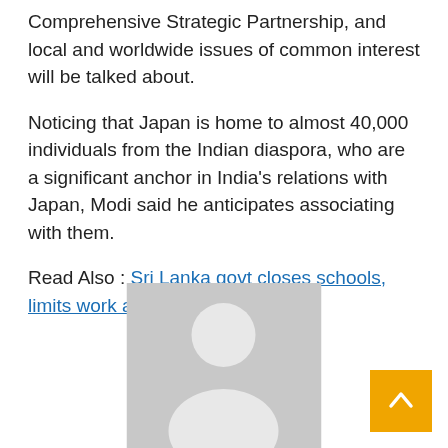Comprehensive Strategic Partnership, and local and worldwide issues of common interest will be talked about.
Noticing that Japan is home to almost 40,000 individuals from the Indian diaspora, who are a significant anchor in India's relations with Japan, Modi said he anticipates associating with them.
Read Also : Sri Lanka govt closes schools, limits work amid fuel shortage
[Figure (illustration): Generic grey placeholder avatar image showing a silhouette of a person (head and shoulders) in white on a grey background]